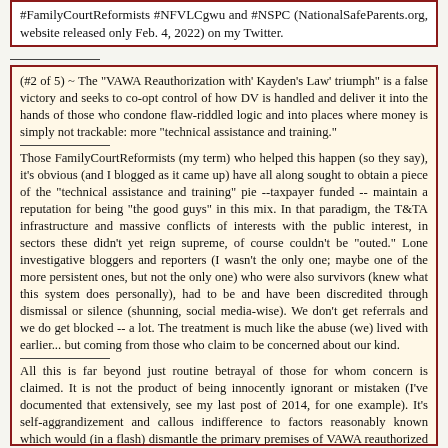#FamilyCourtReformists #NFVLCgwu and #NSPC (NationalSafeParents.org, website released only Feb. 4, 2022) on my Twitter.
(#2 of 5) ~ The "VAWA Reauthorization with' Kayden's Law' triumph" is a false victory and seeks to co-opt control of how DV is handled and deliver it into the hands of those who condone flaw-riddled logic and into places where money is simply not trackable: more "technical assistance and training."
Those FamilyCourtReformists (my term) who helped this happen (so they say), it's obvious (and I blogged as it came up) have all along sought to obtain a piece of the "technical assistance and training" pie --taxpayer funded -- maintain a reputation for being "the good guys" in this mix. In that paradigm, the T&TA infrastructure and massive conflicts of interests with the public interest, in sectors these didn't yet reign supreme, of course couldn't be "outed." Lone investigative bloggers and reporters (I wasn't the only one; maybe one of the more persistent ones, but not the only one) who were also survivors (knew what this system does personally), had to be and have been discredited through dismissal or silence (shunning, social media-wise). We don't get referrals and we do get blocked -- a lot. The treatment is much like the abuse (we) lived with earlier... but coming from those who claim to be concerned about our kind.
All this is far beyond just routine betrayal of those for whom concern is claimed. It is not the product of being innocently ignorant or mistaken (I've documented that extensively, see my last post of 2014, for one example). It's self-aggrandizement and callous indifference to factors reasonably known which would (in a flash) dismantle the primary premises of VAWA reauthorized with "Kayden's Law."
From what I can see, Canada's "Keira" law is similar, and promoters of one promote the other. At least two of Keira's professionals that her mother cited,